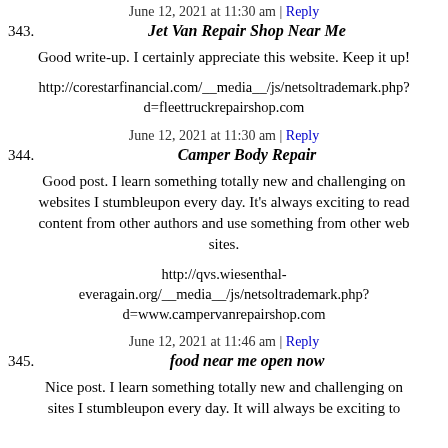June 12, 2021 at 11:30 am | Reply
343. Jet Van Repair Shop Near Me
Good write-up. I certainly appreciate this website. Keep it up!
http://corestarfinancial.com/__media__/js/netsoltrademark.php?d=fleettruckrepairshop.com
June 12, 2021 at 11:30 am | Reply
344. Camper Body Repair
Good post. I learn something totally new and challenging on websites I stumbleupon every day. It's always exciting to read content from other authors and use something from other web sites.
http://qvs.wiesenthal-everagain.org/__media__/js/netsoltrademark.php?d=www.campervanrepairshop.com
June 12, 2021 at 11:46 am | Reply
345. food near me open now
Nice post. I learn something totally new and challenging on sites I stumbleupon every day. It will always be exciting to